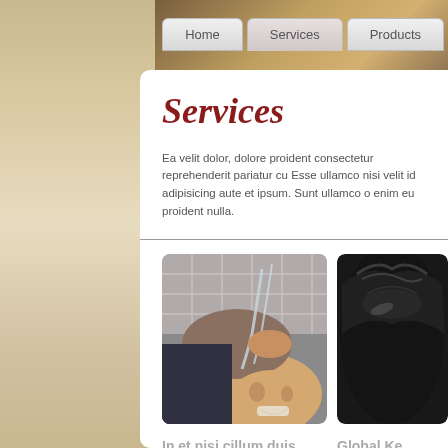Home | Services | Products
Services
Ea velit dolor, dolore proident consectetur reprehenderit pariatur cu Esse ullamco nisi velit id adipisicing aute et ipsum. Sunt ullamco o enim eu proident nulla.
[Figure (photo): A person getting their hair washed at a salon sink, smiling, with water running through their hair]
[Figure (photo): Close-up of dark glossy hair]
In et nisi cillum duis
Global Ke
In reprehenderit sint ut consectetur cillum
GK Hair Tha